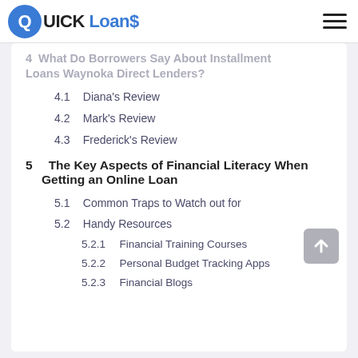QUICK Loans
4  What Do Borrowers Say About Installment Loans Waynoka Direct Lenders?
4.1  Diana's Review
4.2  Mark's Review
4.3  Frederick's Review
5  The Key Aspects of Financial Literacy When Getting an Online Loan
5.1  Common Traps to Watch out for
5.2  Handy Resources
5.2.1  Financial Training Courses
5.2.2  Personal Budget Tracking Apps
5.2.3  Financial Blogs